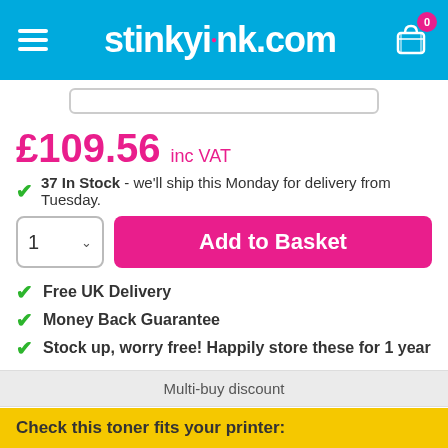Stinkyink.com
£109.56 inc VAT
37 In Stock - we'll ship this Monday for delivery from Tuesday.
Add to Basket
Free UK Delivery
Money Back Guarantee
Stock up, worry free! Happily store these for 1 year
| Multi-buy discount |  |
| --- | --- |
| 2 - 3 | £106.27 each |
| 4+ | £104.09 each |
Check this toner fits your printer: